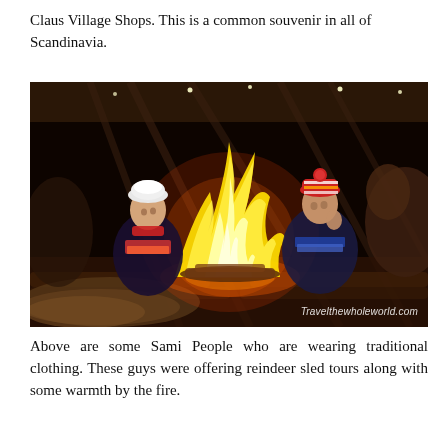Claus Village Shops. This is a common souvenir in all of Scandinavia.
[Figure (photo): Two Sami people in traditional colorful clothing sitting around a large campfire inside a wooden structure (lavvu/tent). The fire burns brightly in the center. Animal furs visible on the ground. Watermark: Travelthewholeworld.com]
Above are some Sami People who are wearing traditional clothing. These guys were offering reindeer sled tours along with some warmth by the fire.